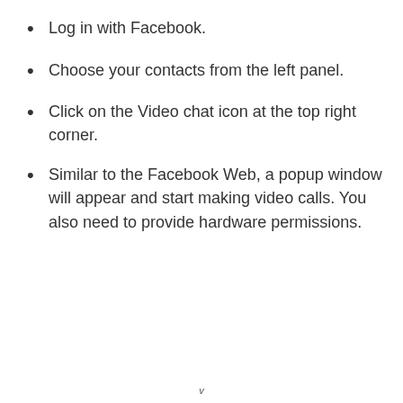Log in with Facebook.
Choose your contacts from the left panel.
Click on the Video chat icon at the top right corner.
Similar to the Facebook Web, a popup window will appear and start making video calls. You also need to provide hardware permissions.